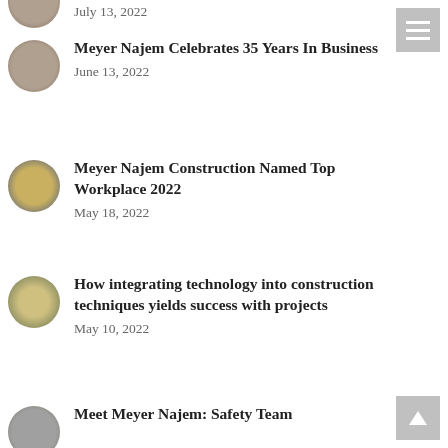July 13, 2022
Meyer Najem Celebrates 35 Years In Business
June 13, 2022
Meyer Najem Construction Named Top Workplace 2022
May 18, 2022
How integrating technology into construction techniques yields success with projects
May 10, 2022
Meet Meyer Najem: Safety Team